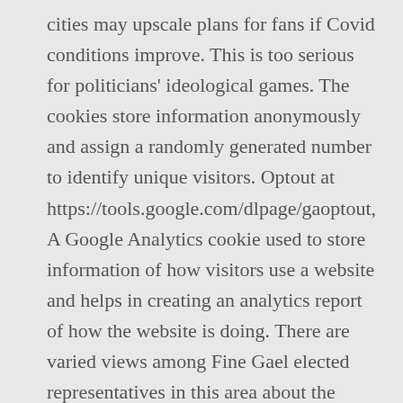cities may upscale plans for fans if Covid conditions improve. This is too serious for politicians' ideological games. The cookies store information anonymously and assign a randomly generated number to identify unique visitors. Optout at https://tools.google.com/dlpage/gaoptout, A Google Analytics cookie used to store information of how visitors use a website and helps in creating an analytics report of how the website is doing. There are varied views among Fine Gael elected representatives in this area about the proposed Programme for Government that would see a coalition formed between their party, Fianna Fáil and the